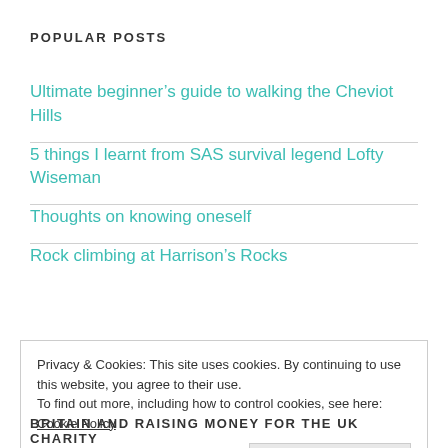POPULAR POSTS
Ultimate beginner’s guide to walking the Cheviot Hills
5 things I learnt from SAS survival legend Lofty Wiseman
Thoughts on knowing oneself
Rock climbing at Harrison’s Rocks
Privacy & Cookies: This site uses cookies. By continuing to use this website, you agree to their use.
To find out more, including how to control cookies, see here: Cookie Policy
BRITAIN AND RAISING MONEY FOR THE UK CHARITY